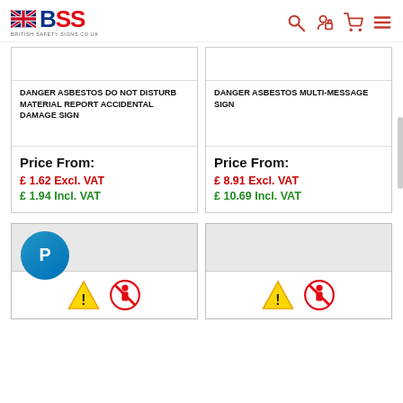[Figure (logo): BSS British Safety Signs logo with Union Jack flag icon]
DANGER ASBESTOS DO NOT DISTURB MATERIAL REPORT ACCIDENTAL DAMAGE SIGN
Price From: £1.62 Excl. VAT £1.94 Incl. VAT
DANGER ASBESTOS MULTI-MESSAGE SIGN
Price From: £8.91 Excl. VAT £10.69 Incl. VAT
[Figure (screenshot): Bottom product cards showing PayPal badge and warning signs icons]